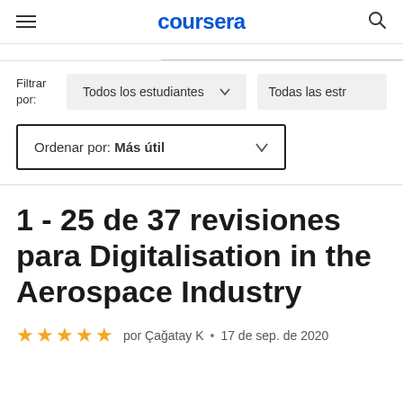coursera
Filtrar por:   Todos los estudiantes   Todas las estr
Ordenar por: Más útil
1 - 25 de 37 revisiones para Digitalisation in the Aerospace Industry
★★★★★  por Çağatay K  •  17 de sep. de 2020